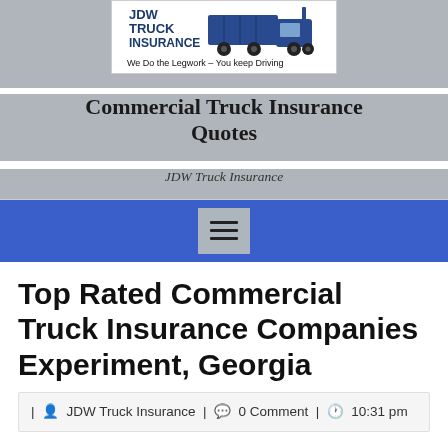[Figure (logo): JDW Truck Insurance logo with truck graphic and tagline 'We Do the Legwork - You keep Driving']
Commercial Truck Insurance Quotes
JDW Truck Insurance
[Figure (other): Blue navigation bar with hamburger menu icon]
Top Rated Commercial Truck Insurance Companies Experiment, Georgia
| JDW Truck Insurance | 0 Comment | 10:31 pm